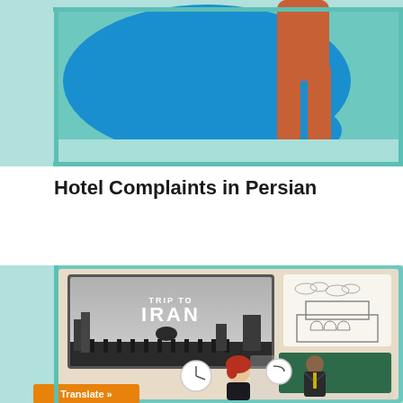[Figure (illustration): Top illustration showing a person standing with orange pants and dark shoes next to a blue speech bubble shape on a teal/light blue background]
Hotel Complaints in Persian
[Figure (illustration): Bottom illustration showing a composite image: a 'Trip to Iran' banner with Iranian architecture in grayscale, a sketch of a Persian building, clock symbols, a woman with red hair, and a man in a suit at a desk with a green chalkboard. An orange 'Translate »' button is visible in the bottom left.]